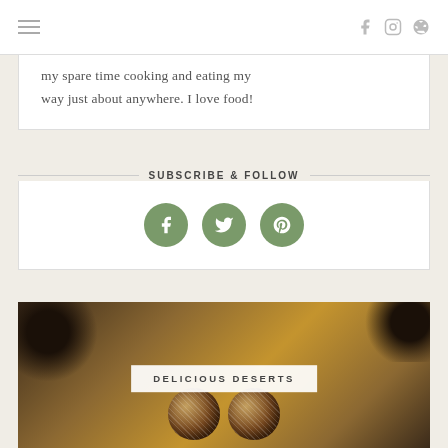Navigation menu and social icons (Facebook, Instagram, Pinterest)
my spare time cooking and eating my way just about anywhere. I love food!
SUBSCRIBE & FOLLOW
[Figure (infographic): Three green circular social media buttons: Facebook (f), Twitter (bird), Pinterest (p)]
[Figure (photo): Food photo showing coconut chocolate balls on a wooden cutting board with dried fruits, labeled DELICIOUS DESERTS]
DELICIOUS DESERTS